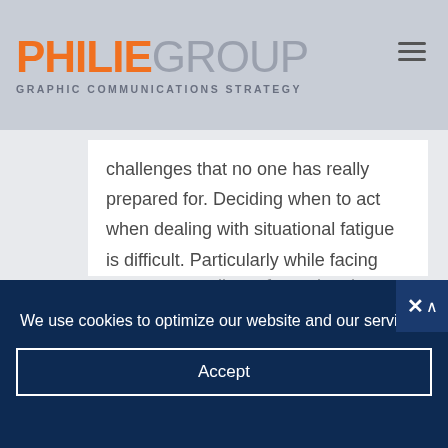PHILIE GROUP — GRAPHIC COMMUNICATIONS STRATEGY
challenges that no one has really prepared for. Deciding when to act when dealing with situational fatigue is difficult. Particularly while facing potential irreversible business trends. These times create an
We use cookies to optimize our website and our service.
Accept